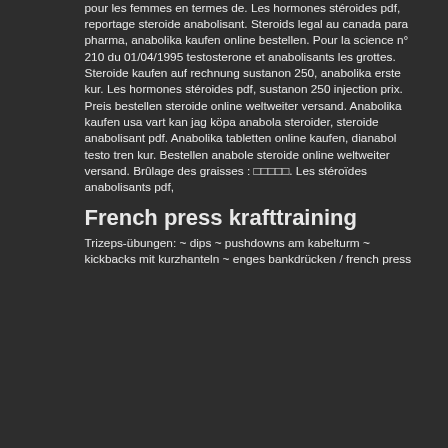pour les femmes en termes de. Les hormones stéroides pdf, reportage steroide anabolisant. Steroids legal au canada para pharma, anabolika kaufen online bestellen. Pour la science n° 210 du 01/04/1995 testosterone et anabolisants les grottes. Steroide kaufen auf rechnung sustanon 250, anabolika erste kur. Les hormones stéroides pdf, sustanon 250 injection prix. Preis bestellen steroide online weltweiter versand. Anabolika kaufen usa vart kan jag köpa anabola steroider, steroide anabolisant pdf. Anabolika tabletten online kaufen, dianabol testo tren kur. Bestellen anabole steroide online weltweiter versand. Brûlage des graisses : □□□□□. Les stéroïdes anabolisants pdf,
French press krafttraining
Trizeps-übungen: ~ dips ~ pushdowns am kabelturm ~ kickbacks mit kurzhanteln ~ enges bankdrücken / french press